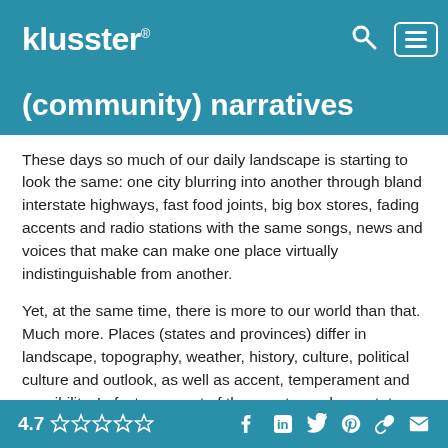klusster®
(community) narratives
These days so much of our daily landscape is starting to look the same: one city blurring into another through bland interstate highways, fast food joints, big box stores, fading accents and radio stations with the same songs, news and voices that make can make one place virtually indistinguishable from another.
Yet, at the same time, there is more to our world than that. Much more. Places (states and provinces) differ in landscape, topography, weather, history, culture, political culture and outlook, as well as accent, temperament and sensibility. In fact, one part of the country and one state can be very different from the
4.7 ☆☆☆☆☆